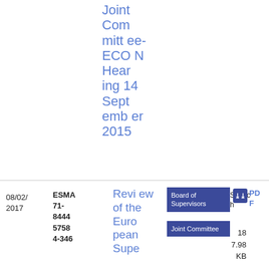Joint Committee-ECON Hearing 14 September 2015
| Date | Reference | Title | Category | Type | Download | Size |
| --- | --- | --- | --- | --- | --- | --- |
| 08/02/2017 | ESMA 71-84445758 4-346 | Review of the European Supe... | Board of Supervisors / Joint Committee | Speech | PDF | 187.98 KB |